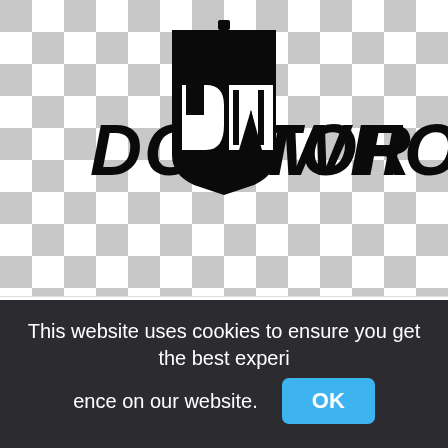[Figure (logo): Doctor Who logo with TARDIS symbol on checkered (transparency) background]
doctor tardis logo television show dalek doctor who,doctor
This website uses cookies to ensure you get the best experience on our website.
OK